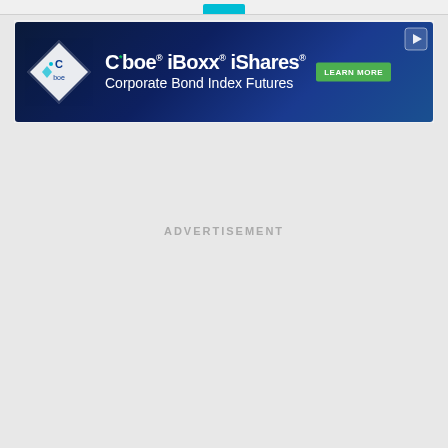[Figure (other): Cboe iBoxx iShares Corporate Bond Index Futures advertisement banner with dark blue gradient background, Cboe diamond logo on left, product name text in center, green LEARN MORE button on right, and play icon in top-right corner]
ADVERTISEMENT